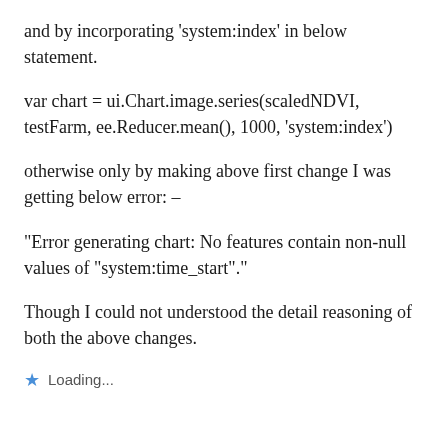and by incorporating 'system:index' in below statement.
var chart = ui.Chart.image.series(scaledNDVI, testFarm, ee.Reducer.mean(), 1000, 'system:index')
otherwise only by making above first change I was getting below error: –
“Error generating chart: No features contain non-null values of “system:time_start”.”
Though I could not understood the detail reasoning of both the above changes.
Loading...